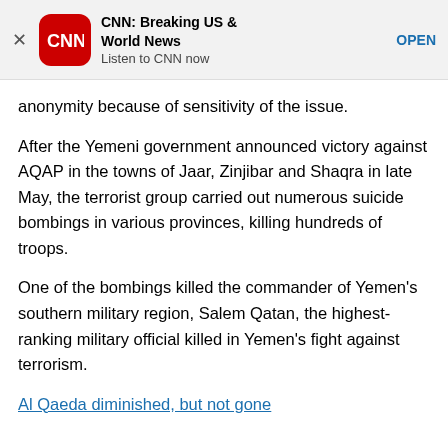[Figure (other): CNN Breaking US & World News app advertisement banner with CNN logo, title, subtitle 'Listen to CNN now', and OPEN button]
anonymity because of sensitivity of the issue.
After the Yemeni government announced victory against AQAP in the towns of Jaar, Zinjibar and Shaqra in late May, the terrorist group carried out numerous suicide bombings in various provinces, killing hundreds of troops.
One of the bombings killed the commander of Yemen's southern military region, Salem Qatan, the highest-ranking military official killed in Yemen's fight against terrorism.
Al Qaeda diminished, but not gone